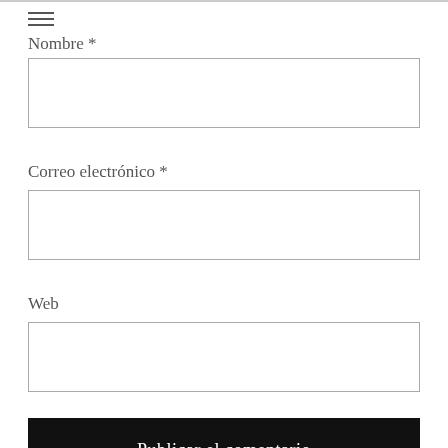Nombre *
[Figure (screenshot): Empty text input field for Nombre]
Correo electrónico *
[Figure (screenshot): Empty text input field for Correo electrónico]
Web
[Figure (screenshot): Empty text input field for Web]
Publicar el comentario
Notificarme los nuevos comentarios por